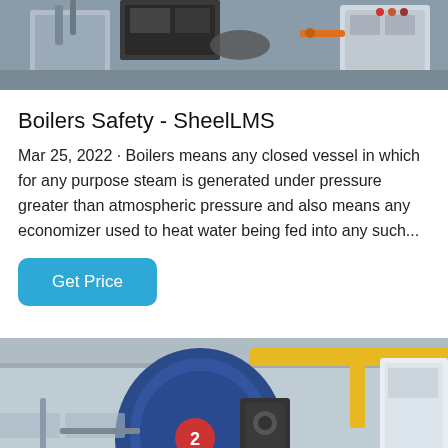[Figure (photo): Industrial boiler equipment showing mechanical components, pipes, and control panel in a factory setting]
Boilers Safety - SheelLMS
Mar 25, 2022 · Boilers means any closed vessel in which for any purpose steam is generated under pressure greater than atmospheric pressure and also means any economizer used to heat water being fed into any such...
Get Price
[Figure (photo): Industrial boiler facility with large blue cylindrical boiler, yellow overhead pipes, and white equipment in a factory building]